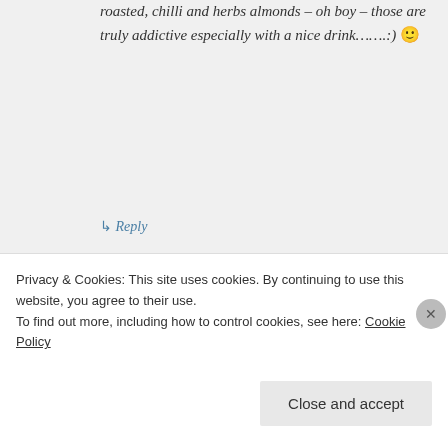roasted, chilli and herbs almonds – oh boy – those are truly addictive especially with a nice drink…….:) 🙂
↳ Reply
Mad Dog on January 7, 2017 at 11:07 am
I'd love to try those 🙂
Privacy & Cookies: This site uses cookies. By continuing to use this website, you agree to their use. To find out more, including how to control cookies, see here: Cookie Policy
Close and accept